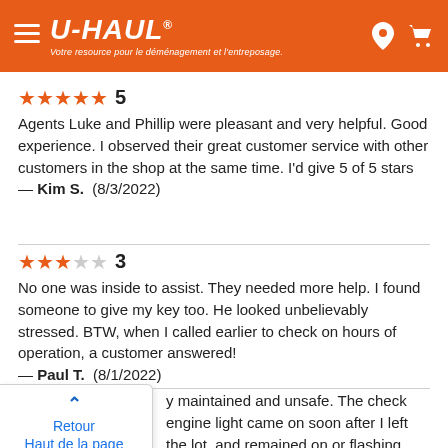[Figure (logo): U-Haul website header with orange background, hamburger menu, U-HAUL logo with registered trademark, tagline in French 'Votre resource pour le déménagement et l'entreposage.', location pin and cart icons]
★★★★★ 5
Agents Luke and Phillip were pleasant and very helpful. Good experience. I observed their great customer service with other customers in the shop at the same time. I'd give 5 of 5 stars
— Kim S.  (8/3/2022)
★★★☆☆ 3
No one was inside to assist. They needed more help. I found someone to give my key too. He looked unbelievably stressed. BTW, when I called earlier to check on hours of operation, a customer answered!
— Paul T.  (8/1/2022)
Retour
Haut de la page
...ly maintained and unsafe. The check engine light came on soon after I left the lot, and remained on or flashing